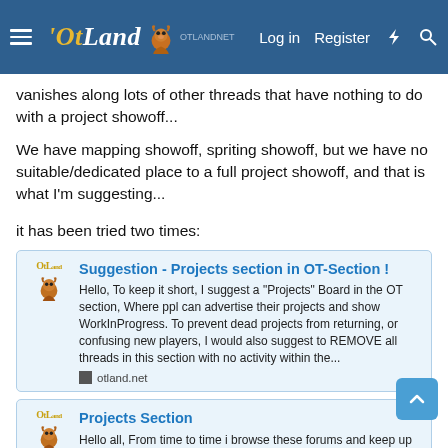OtLand navigation bar with Log in, Register, and search icons
vanishes along lots of other threads that have nothing to do with a project showoff...
We have mapping showoff, spriting showoff, but we have no suitable/dedicated place to a full project showoff, and that is what I'm suggesting...
it has been tried two times:
[Figure (screenshot): Link card: Suggestion - Projects section in OT-Section! Hello, To keep it short, I suggest a "Projects" Board in the OT section, Where ppl can advertise their projects and show WorkInProgress. To prevent dead projects from returning, or confusing new players, I would also suggest to REMOVE all threads in this section with no activity within the... otland.net]
[Figure (screenshot): Link card: Projects Section. Hello all, From time to time i browse these forums and keep up with community projects and every once in a while if i see]